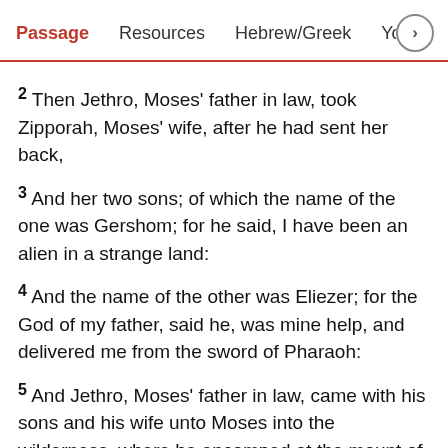Passage   Resources   Hebrew/Greek   Your Cont >
2 Then Jethro, Moses' father in law, took Zipporah, Moses' wife, after he had sent her back,
3 And her two sons; of which the name of the one was Gershom; for he said, I have been an alien in a strange land:
4 And the name of the other was Eliezer; for the God of my father, said he, was mine help, and delivered me from the sword of Pharaoh:
5 And Jethro, Moses' father in law, came with his sons and his wife unto Moses into the wilderness, where he encamped at the mount of God:
6 And he said unto Moses, I thy father in law Jethro am come unto thee, and thy wife, and her two